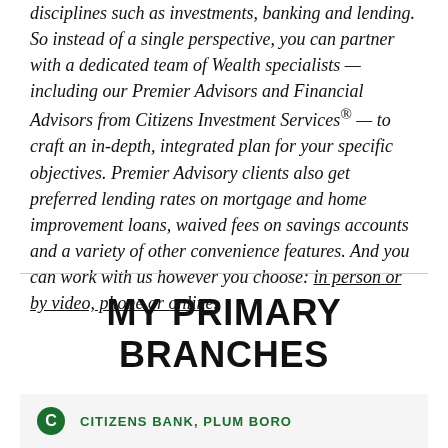disciplines such as investments, banking and lending. So instead of a single perspective, you can partner with a dedicated team of Wealth specialists — including our Premier Advisors and Financial Advisors from Citizens Investment Services® — to craft an in-depth, integrated plan for your specific objectives. Premier Advisory clients also get preferred lending rates on mortgage and home improvement loans, waived fees on savings accounts and a variety of other convenience features. And you can work with us however you choose: in person or by video, phone or online.
MY PRIMARY BRANCHES
CITIZENS BANK, PLUM BORO